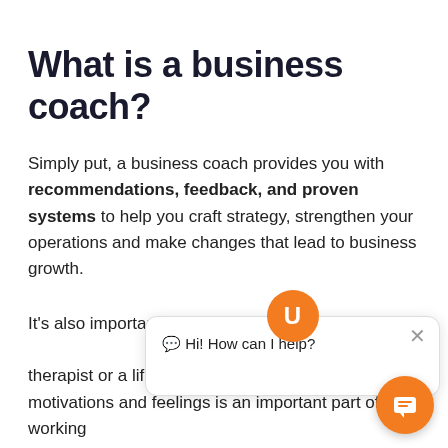What is a business coach?
Simply put, a business coach provides you with recommendations, feedback, and proven systems to help you craft strategy, strengthen your operations and make changes that lead to business growth.
It's also important to note that a business coach is not a therapist or a life coach. While understanding your motivations and feelings is an important part of working with a coach, their focus should be to help you implement proven best practices, strategies and actions to grow your business.